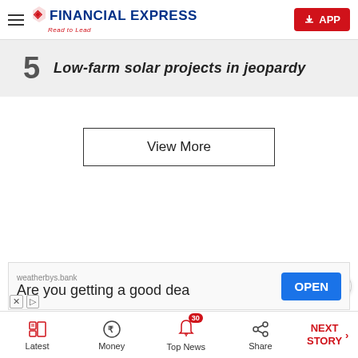FINANCIAL EXPRESS — Read to Lead
5  Low-farm solar projects in jeopardy
View More
[Figure (screenshot): Advertisement banner: weatherbys.bank — Are you getting a good dea — OPEN button]
Latest | Money | Top News (30) | Share | NEXT STORY